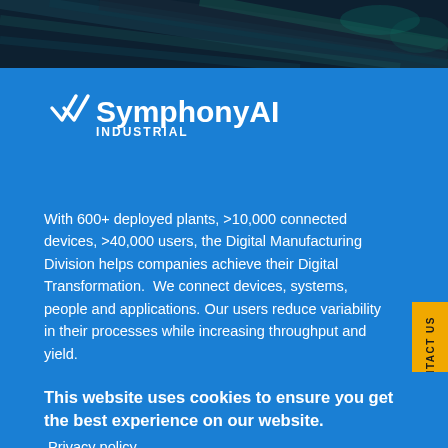[Figure (photo): Dark abstract background with industrial/technological appearance at the top of the page]
[Figure (logo): SymphonyAI Industrial logo — two stylized wave/check marks followed by 'SymphonyAI' in bold white text, with 'INDUSTRIAL' in smaller caps below]
With 600+ deployed plants, >10,000 connected devices, >40,000 users, the Digital Manufacturing Division helps companies achieve their Digital Transformation.  We connect devices, systems, people and applications. Our users reduce variability in their processes while increasing throughput and yield.
This website uses cookies to ensure you get the best experience on our website.
Privacy policy
Got it
KPI Dashboarding